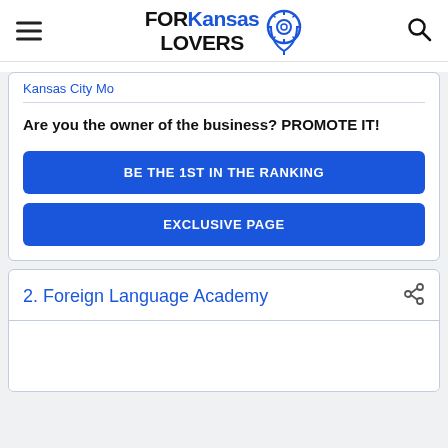FOR Kansas LOVERS
Kansas City Mo
Are you the owner of the business? PROMOTE IT!
BE THE 1ST IN THE RANKING
EXCLUSIVE PAGE
2. Foreign Language Academy